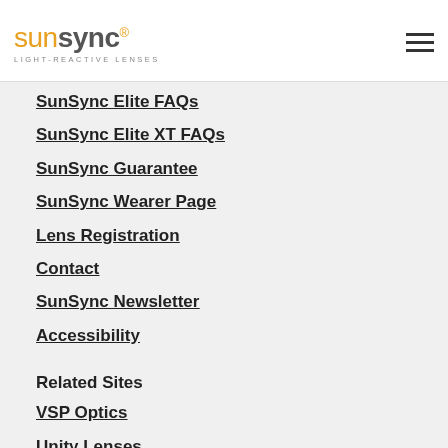SunSync LIGHT-REACTIVE LENSES
SunSync Elite FAQs
SunSync Elite XT FAQs
SunSync Guarantee
SunSync Wearer Page
Lens Registration
Contact
SunSync Newsletter
Accessibility
Related Sites
VSP Optics
Unity Lenses
TechShield AR Coatings
UUniversity
VSPOne
VSP Vision Care